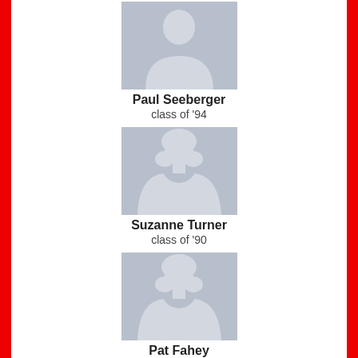[Figure (illustration): Generic male silhouette placeholder avatar for Paul Seeberger]
Paul Seeberger
class of '94
[Figure (illustration): Generic female silhouette placeholder avatar for Suzanne Turner]
Suzanne Turner
class of '90
[Figure (illustration): Generic female silhouette placeholder avatar for Pat Fahey]
Pat Fahey
class of '67
[Figure (illustration): Generic female silhouette placeholder avatar (name/class not visible, cut off at bottom)]